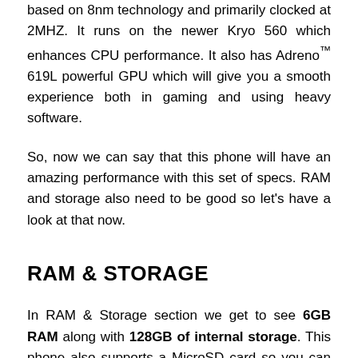based on 8nm technology and primarily clocked at 2MHZ. It runs on the newer Kryo 560 which enhances CPU performance. It also has Adreno™ 619L powerful GPU which will give you a smooth experience both in gaming and using heavy software.
So, now we can say that this phone will have an amazing performance with this set of specs. RAM and storage also need to be good so let's have a look at that now.
RAM & STORAGE
In RAM & Storage section we get to see 6GB RAM along with 128GB of internal storage. This phone also supports a MicroSD card so you can expand storage using a card anytime.